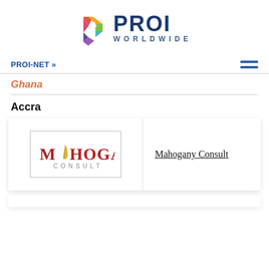[Figure (logo): PROI Worldwide logo with colorful geometric P icon and bold dark blue PROI text with WORLDWIDE subtitle]
PROI-NET »
Ghana
Accra
[Figure (logo): Mahogany Consult logo — stylized M with flame/feather, red and gold text on white background with border]
Mahogany Consult